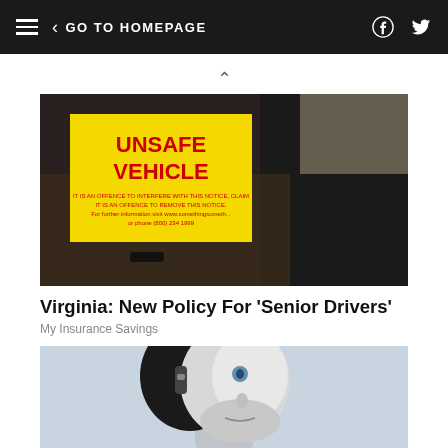GO TO HOMEPAGE
[Figure (photo): Person holding a yellow 'UNSAFE VEHICLE' sign through a car window]
Virginia: New Policy For 'Senior Drivers'
My Insurance Savings
[Figure (photo): Close-up of a humanoid robot face, white and chrome colored, on a light blue-grey background]